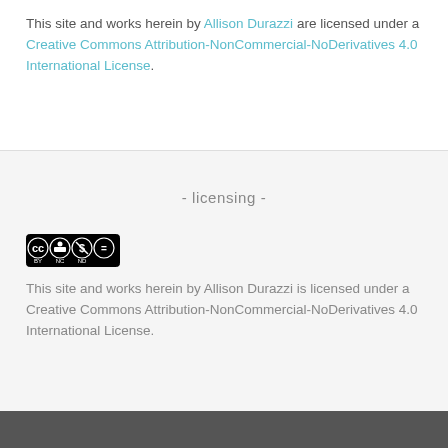This site and works herein by Allison Durazzi are licensed under a Creative Commons Attribution-NonCommercial-NoDerivatives 4.0 International License.
- licensing -
[Figure (logo): Creative Commons BY NC ND license badge]
This site and works herein by Allison Durazzi is licensed under a Creative Commons Attribution-NonCommercial-NoDerivatives 4.0 International License.